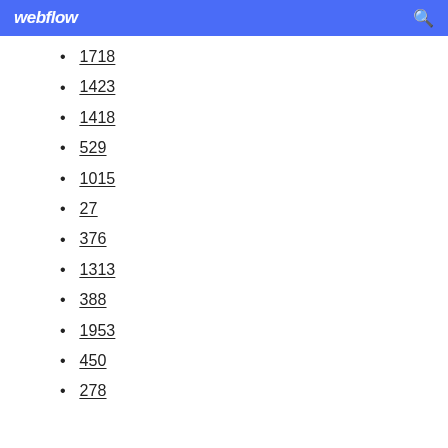webflow
1718
1423
1418
529
1015
27
376
1313
388
1953
450
278